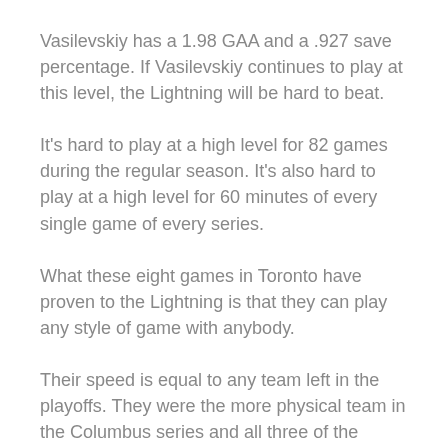Vasilevskiy has a 1.98 GAA and a .927 save percentage. If Vasilevskiy continues to play at this level, the Lightning will be hard to beat.
It's hard to play at a high level for 82 games during the regular season. It's also hard to play at a high level for 60 minutes of every single game of every series.
What these eight games in Toronto have proven to the Lightning is that they can play any style of game with anybody.
Their speed is equal to any team left in the playoffs. They were the more physical team in the Columbus series and all three of the round-robin games.
Copper said there was never any doubt that the Lightning would come out on top in the series. "Believe' is a huge word,